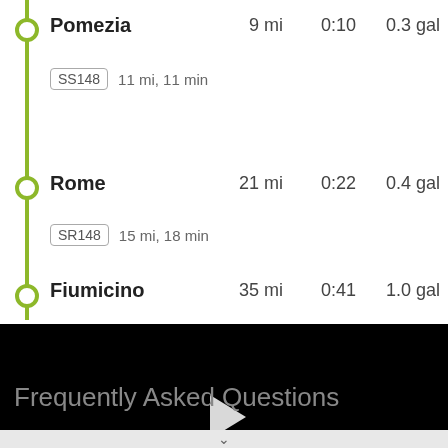Pomezia  9 mi  0:10  0.3 gal
SS148  11 mi, 11 min
Rome  21 mi  0:22  0.4 gal
SR148  15 mi, 18 min
Fiumicino  35 mi  0:41  1.0 gal
[Figure (screenshot): Black video player with white play button triangle in center]
Frequently Asked Questions